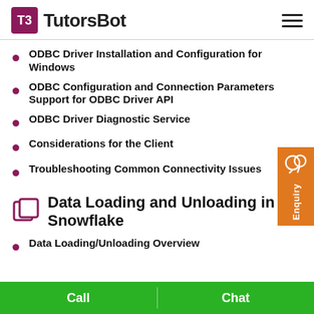TutorsBot
ODBC Driver Installation and Configuration for Windows
ODBC Configuration and Connection Parameters Support for ODBC Driver API
ODBC Driver Diagnostic Service
Considerations for the Client
Troubleshooting Common Connectivity Issues
Data Loading and Unloading in Snowflake
Data Loading/Unloading Overview